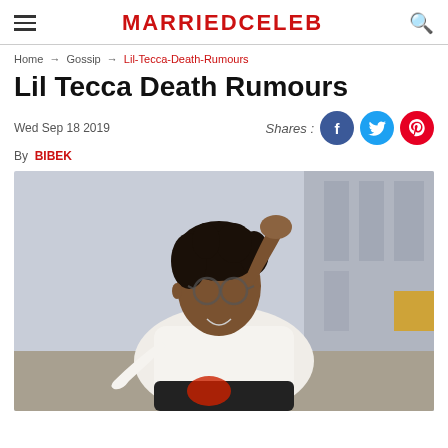MARRIEDCELEB
Home → Gossip → Lil-Tecca-Death-Rumours
Lil Tecca Death Rumours
Wed Sep 18 2019
By BIBEK
[Figure (photo): Photo of Lil Tecca, a young Black man with dreadlocks, wearing glasses and a white Kenzo sweatshirt, sitting with one hand raised to his head, photographed outdoors near a building.]